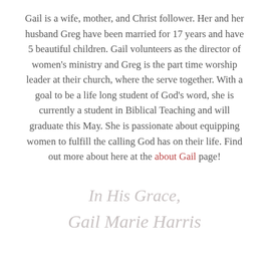Gail is a wife, mother, and Christ follower. Her and her husband Greg have been married for 17 years and have 5 beautiful children. Gail volunteers as the director of women's ministry and Greg is the part time worship leader at their church, where the serve together. With a goal to be a life long student of God's word, she is currently a student in Biblical Teaching and will graduate this May. She is passionate about equipping women to fulfill the calling God has on their life. Find out more about here at the about Gail page!
In His Grace,
Gail Marie Harris